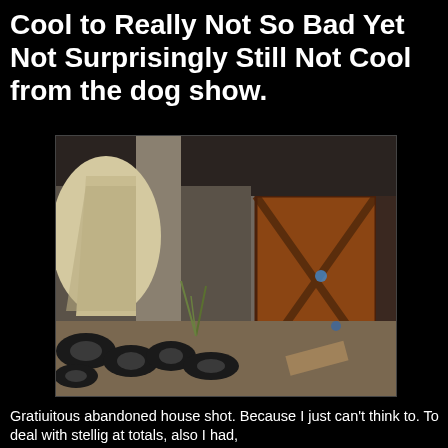Cool to Really Not So Bad Yet Not Surprisingly Still Not Cool from the dog show.
[Figure (photo): Photograph of an abandoned house or structure with concrete pillars forming archways on the left side, a red wooden door with X-brace pattern in the center-right, and scattered old tires and debris on the ground. Dusty desert environment.]
Gratiuitous abandoned house shot. Because I just can't think to. To deal with stellig at totals, also I had,